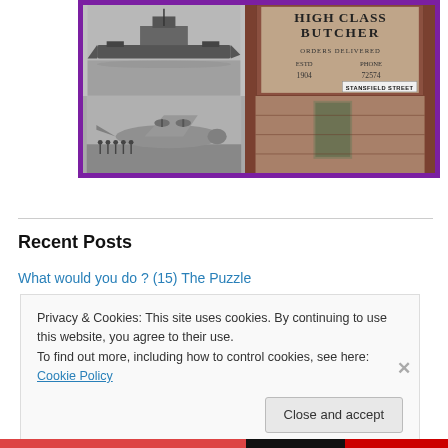[Figure (photo): Collage of historical photographs in a purple border: top-left shows a battleship at sea (black and white), top-right shows a brick wall with 'HIGH CLASS BUTCHER' painted text and a Stansfield Street sign, bottom-left shows a WWII bomber aircraft with crew standing in front (black and white), bottom-right continues the butcher wall.]
Recent Posts
What would you do ? (15) The Puzzle
Privacy & Cookies: This site uses cookies. By continuing to use this website, you agree to their use.
To find out more, including how to control cookies, see here: Cookie Policy